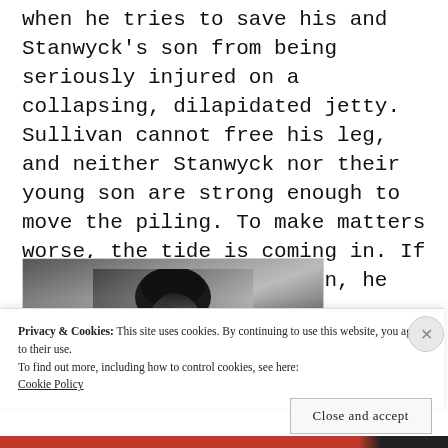when he tries to save his and Stanwyck's son from being seriously injured on a collapsing, dilapidated jetty. Sullivan cannot free his leg, and neither Stanwyck nor their young son are strong enough to move the piling. To make matters worse, the tide is coming in. If Sullivan isn't saved soon, he will drown.
[Figure (photo): Black and white photograph of a man's head and shoulders, viewed from behind/side, dark hair visible.]
Privacy & Cookies: This site uses cookies. By continuing to use this website, you agree to their use.
To find out more, including how to control cookies, see here:
Cookie Policy
Close and accept